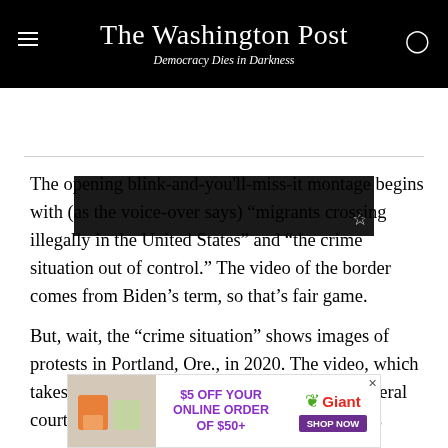The Washington Post — Democracy Dies in Darkness
[Figure (photo): Partial dark photo of a person, cropped at top of article]
The opening blink-and-you'll-miss-it montage begins with (as the voice-over says) “migrants crossing illegally in the United States” and “the crime situation out of control.” The video of the border comes from Biden’s term, so that’s fair game.
But, wait, the “crime situation” shows images of protests in Portland, Ore., in 2020. The video, which takes place in front of the Mark O. Hatfield federal courthouse, features graffiti and other markings
[Figure (other): Advertisement banner: $5 OFF YOUR ONLINE ORDER OF $50+ Giant SHOP NOW]